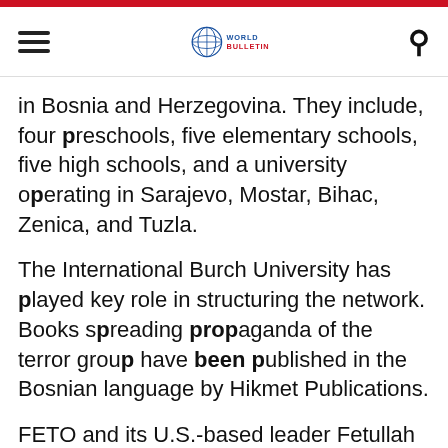World Bulletin
in Bosnia and Herzegovina. They include, four preschools, five elementary schools, five high schools, and a university operating in Sarajevo, Mostar, Bihac, Zenica, and Tuzla.
The International Burch University has played key role in structuring the network. Books spreading propaganda of the terror group have been published in the Bosnian language by Hikmet Publications.
FETO and its U.S.-based leader Fetullah Gulen orchestrated the coup attempt on July 15, 2016 that martyred 250 people and left nearly 2,200 injured.
Ankara also accuses the group of a long-running campaign to overthrow the state through the infiltration of Turkish institutions, particularly the